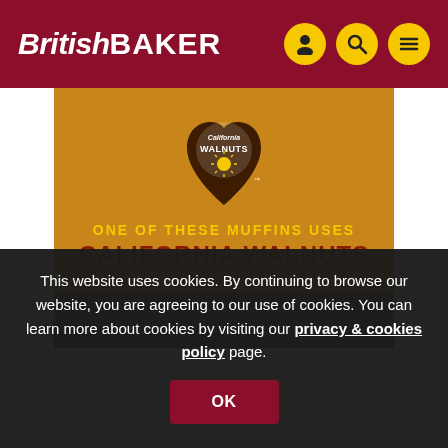British BAKER
[Figure (illustration): California Walnuts advertisement banner showing the California Walnuts heart-shaped logo/badge with text 'ONE OF THESE MUFFINS USES CALIFORNIA WALNUTS' on a golden/amber background with muffins at the bottom]
This website uses cookies. By continuing to browse our website, you are agreeing to our use of cookies. You can learn more about cookies by visiting our privacy & cookies policy page.
OK